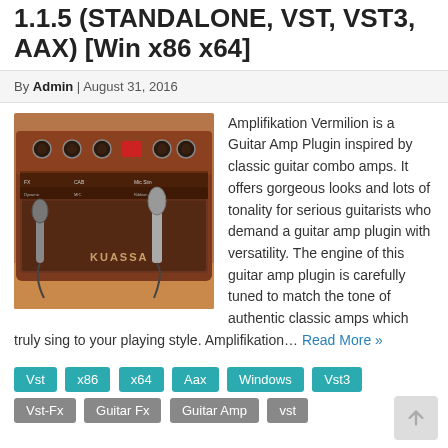1.1.5 (STANDALONE, VST, VST3, AAX) [Win x86 x64]
By Admin | August 31, 2016
[Figure (photo): Photo of a guitar combo amp (Kuassa Amplifikation Vermilion) with microphones in front of it, showing the amp's control panel and speaker grille.]
Amplifikation Vermilion is a Guitar Amp Plugin inspired by classic guitar combo amps. It offers gorgeous looks and lots of tonality for serious guitarists who demand a guitar amp plugin with versatility. The engine of this guitar amp plugin is carefully tuned to match the tone of authentic classic amps which truly sing to your playing style. Amplifikation… Read More »
Vst
x86
x64
Aax
Windows
Vst3
Vst-Fx
Guitar Fx
Guitar Amp
vst